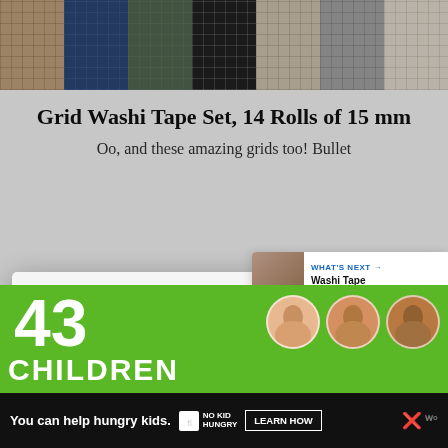[Figure (photo): Row of colorful grid/plaid washi tape rolls including tan, navy, green, black, beige, grey, and cream colors at the top of the page]
Grid Washi Tape Set, 14 Rolls of 15 mm
Oo, and these amazing grids too! Bullet
[Figure (screenshot): Manage Cookie Consent modal dialog box with accept button and privacy policy links]
[Figure (photo): WHAT'S NEXT panel showing Washi Tape Mason Jar G... with a thumbnail image and blue arrow]
[Figure (infographic): Green advertisement banner showing '43' and 'CHILDREN' text with circular face photos]
[Figure (screenshot): Bottom advertisement bar: 'You can help hungry kids.' with NO KID HUNGRY branding and LEARN HOW button]